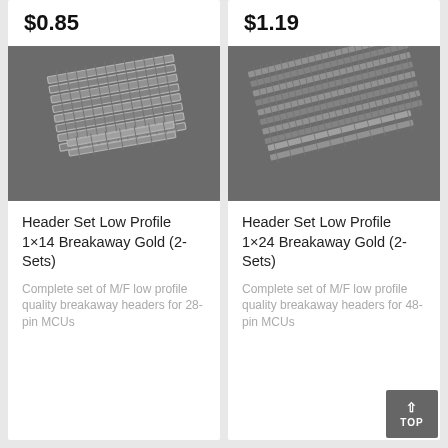$0.85
[Figure (photo): Photo of Header Set Low Profile 1x14 Breakaway Gold (2-Sets) pin headers on gray background]
Header Set Low Profile 1×14 Breakaway Gold (2-Sets)
Complete set of M/F low profile quality breakaway headers for 28-pin MCUs
$1.19
[Figure (photo): Photo of Header Set Low Profile 1x24 Breakaway Gold (2-Sets) pin headers on gray background]
Header Set Low Profile 1×24 Breakaway Gold (2-Sets)
Complete set of M/F low profile quality breakaway headers for 48-pin MCUs